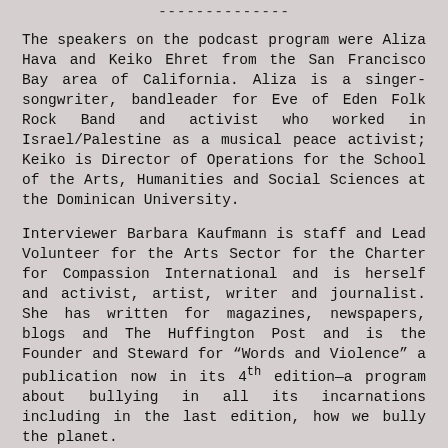--------------
The speakers on the podcast program were Aliza Hava and Keiko Ehret from the San Francisco Bay area of California. Aliza is a singer-songwriter, bandleader for Eve of Eden Folk Rock Band and activist who worked in Israel/Palestine as a musical peace activist; Keiko is Director of Operations for the School of the Arts, Humanities and Social Sciences at the Dominican University.
Interviewer Barbara Kaufmann is staff and Lead Volunteer for the Arts Sector for the Charter for Compassion International and is herself and activist, artist, writer and journalist. She has written for magazines, newspapers, blogs and The Huffington Post and is the Founder and Steward for "Words and Violence" a publication now in its 4th edition—a program about bullying in all its incarnations including in the last edition, how we bully the planet.
Story and podcast created for the Charter for Compassion International courtesy of Walking Moon Studios- people who tell story about fierce compassion in images.